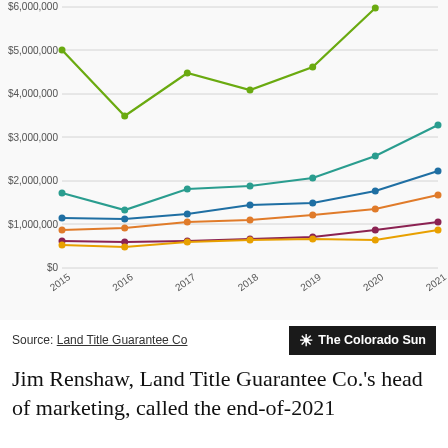[Figure (line-chart): Real estate sales by county (partial)]
Source: Land Title Guarantee Co
Jim Renshaw, Land Title Guarantee Co.'s head of marketing, called the end-of-2021